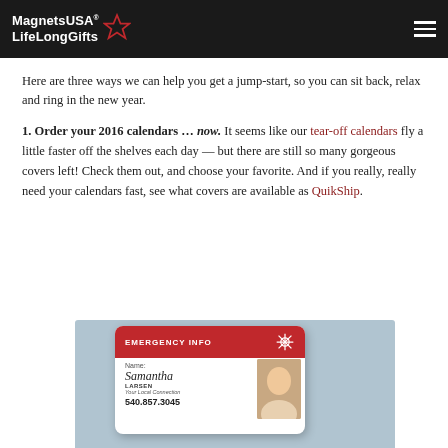MagnetsUSA LifeLongGifts
Here are three ways we can help you get a jump-start, so you can sit back, relax and ring in the new year.
1. Order your 2016 calendars … now. It seems like our tear-off calendars fly a little faster off the shelves each day — but there are still so many gorgeous covers left! Check them out, and choose your favorite. And if you really, really need your calendars fast, see what covers are available as QuikShip.
[Figure (photo): Hand holding a red and white personalized emergency info magnet card with name Samantha Larsen, phone 540.857.3045, with a photo of a blonde woman on the card]